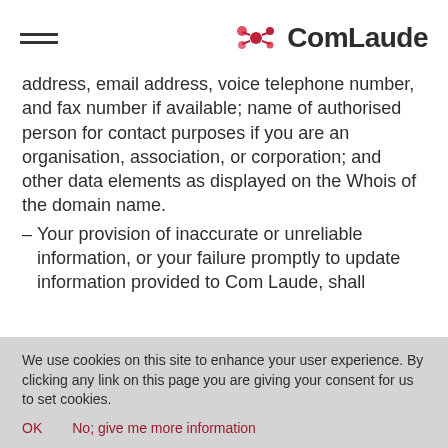ComLaude
address, email address, voice telephone number, and fax number if available; name of authorised person for contact purposes if you are an organisation, association, or corporation; and other data elements as displayed on the Whois of the domain name.
Your provision of inaccurate or unreliable information, or your failure promptly to update information provided to Com Laude, shall
We use cookies on this site to enhance your user experience. By clicking any link on this page you are giving your consent for us to set cookies.
OK    No; give me more information